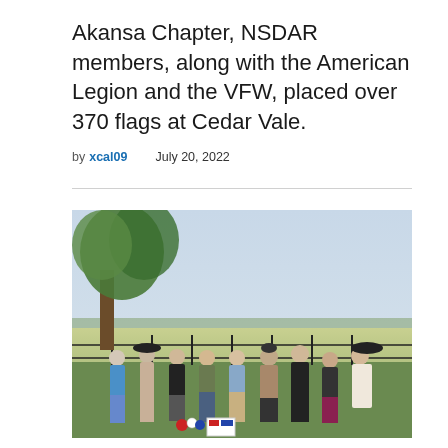Akansa Chapter, NSDAR members, along with the American Legion and the VFW, placed over 370 flags at Cedar Vale.
by xcal09    July 20, 2022
[Figure (photo): Group photo of approximately 9-10 women standing outdoors near a wrought iron fence with a large tree behind them. An open field is visible in the background. Some women wear hats. A patriotic display with flowers and a sign is visible at their feet.]